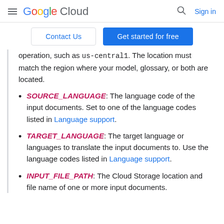Google Cloud | Sign in
Contact Us | Get started for free
operation, such as us-central1. The location must match the region where your model, glossary, or both are located.
SOURCE_LANGUAGE: The language code of the input documents. Set to one of the language codes listed in Language support.
TARGET_LANGUAGE: The target language or languages to translate the input documents to. Use the language codes listed in Language support.
INPUT_FILE_PATH: The Cloud Storage location and file name of one or more input documents.